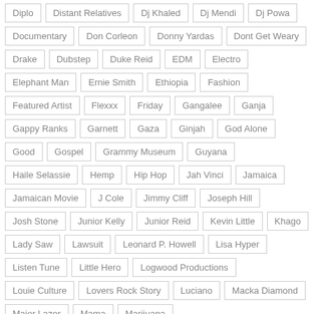Diplo
Distant Relatives
Dj Khaled
Dj Mendi
Dj Powa
Documentary
Don Corleon
Donny Yardas
Dont Get Weary
Drake
Dubstep
Duke Reid
EDM
Electro
Elephant Man
Ernie Smith
Ethiopia
Fashion
Featured Artist
Flexxx
Friday
Gangalee
Ganja
Gappy Ranks
Garnett
Gaza
Ginjah
God Alone
Good
Gospel
Grammy Museum
Guyana
Haile Selassie
Hemp
Hip Hop
Jah Vinci
Jamaica
Jamaican Movie
J Cole
Jimmy Cliff
Joseph Hill
Josh Stone
Junior Kelly
Junior Reid
Kevin Little
Khago
Lady Saw
Lawsuit
Leonard P. Howell
Lisa Hyper
Listen Tune
Little Hero
Logwood Productions
Louie Culture
Lovers Rock Story
Luciano
Macka Diamond
Major Lazer
Mama
Marijuana